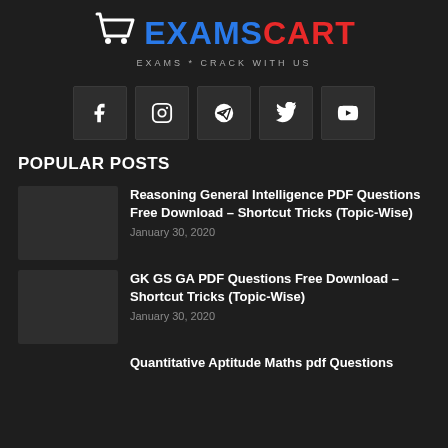[Figure (logo): ExamsCart logo with shopping cart icon, EXAMS in blue and CART in red, tagline EXAMS * CRACK WITH US]
[Figure (infographic): Social media icons row: Facebook, Instagram, Telegram, Twitter, YouTube]
POPULAR POSTS
Reasoning General Intelligence PDF Questions Free Download – Shortcut Tricks (Topic-Wise)
January 30, 2020
GK GS GA PDF Questions Free Download – Shortcut Tricks (Topic-Wise)
January 30, 2020
Quantitative Aptitude Maths pdf Questions